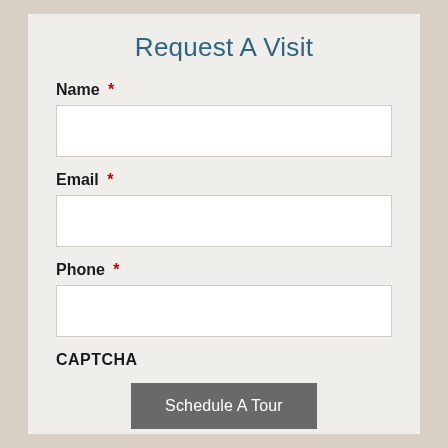Request A Visit
Name *
Email *
Phone *
CAPTCHA
Schedule A Tour